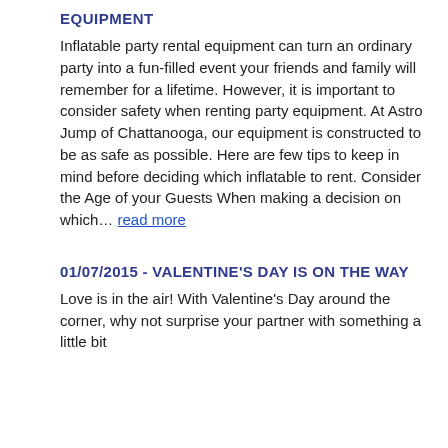EQUIPMENT
Inflatable party rental equipment can turn an ordinary party into a fun-filled event your friends and family will remember for a lifetime. However, it is important to consider safety when renting party equipment. At Astro Jump of Chattanooga, our equipment is constructed to be as safe as possible. Here are few tips to keep in mind before deciding which inflatable to rent. Consider the Age of your Guests When making a decision on which… read more
01/07/2015 - VALENTINE'S DAY IS ON THE WAY
Love is in the air! With Valentine's Day around the corner, why not surprise your partner with something a little bit...